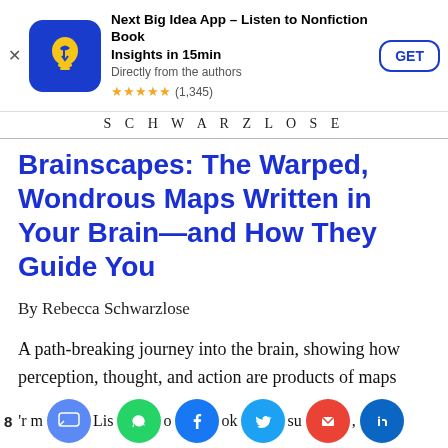[Figure (screenshot): App store advertisement banner for Next Big Idea App with icon, title, subtitle, star rating, and GET button]
SCHWARZLOSE
Brainscapes: The Warped, Wondrous Maps Written in Your Brain—and How They Guide You
By Rebecca Schwarzlose
A path-breaking journey into the brain, showing how perception, thought, and action are products of maps etched into your gray matter —and how technology can use them to read
8